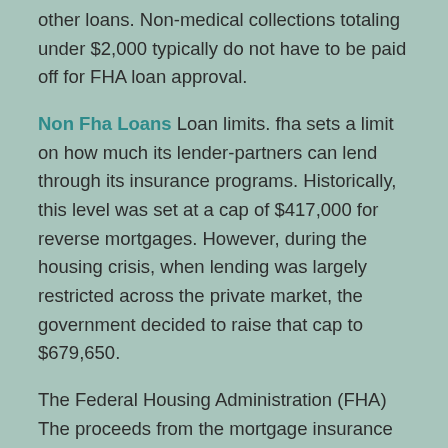other loans. Non-medical collections totaling under $2,000 typically do not have to be paid off for FHA loan approval.
Non Fha Loans Loan limits. fha sets a limit on how much its lender-partners can lend through its insurance programs. Historically, this level was set at a cap of $417,000 for reverse mortgages. However, during the housing crisis, when lending was largely restricted across the private market, the government decided to raise that cap to $679,650.
The Federal Housing Administration (FHA) The proceeds from the mortgage insurance paid by the homeowners are captured in an account that is used to operate the program entirely. FHA provides a huge economic stimulation to the country in the form of home and